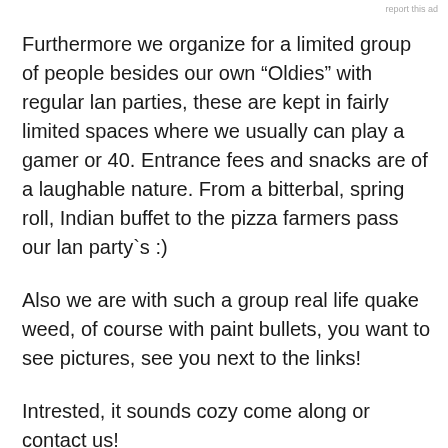report this ad
Furthermore we organize for a limited group of people besides our own “Oldies” with regular lan parties, these are kept in fairly limited spaces where we usually can play a gamer or 40. Entrance fees and snacks are of a laughable nature. From a bitterbal, spring roll, Indian buffet to the pizza farmers pass our lan party`s :)
Also we are with such a group real life quake weed, of course with paint bullets, you want to see pictures, see you next to the links!
Intrested, it sounds cozy come along or contact us!